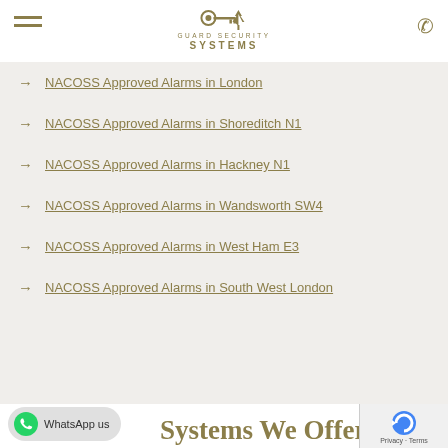Guard Security Systems
NACOSS Approved Alarms in London
NACOSS Approved Alarms in Shoreditch N1
NACOSS Approved Alarms in Hackney N1
NACOSS Approved Alarms in Wandsworth SW4
NACOSS Approved Alarms in West Ham E3
NACOSS Approved Alarms in South West London
Systems We Offer
WhatsApp us